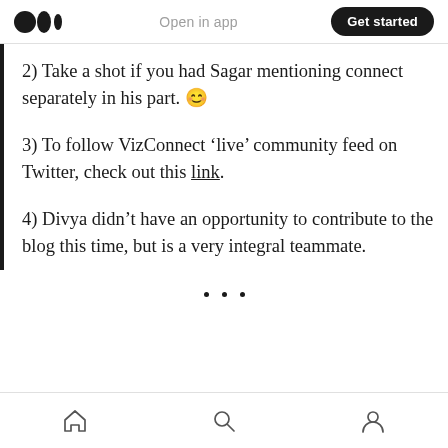Open in app | Get started
2) Take a shot if you had Sagar mentioning connect separately in his part. 😊
3) To follow VizConnect 'live' community feed on Twitter, check out this link.
4) Divya didn't have an opportunity to contribute to the blog this time, but is a very integral teammate.
· · · (section divider dots)